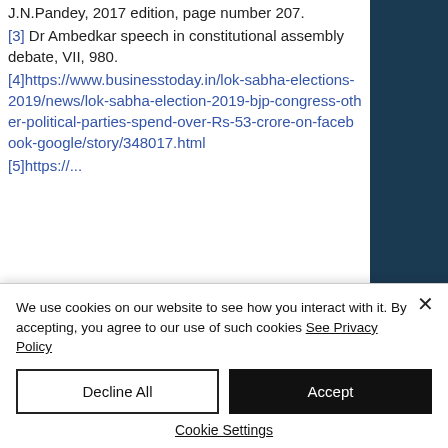J.N.Pandey, 2017 edition, page number 207.
[3] Dr Ambedkar speech in constitutional assembly debate, VII, 980.
[4]https://www.businesstoday.in/lok-sabha-elections-2019/news/lok-sabha-election-2019-bjp-congress-other-political-parties-spend-over-Rs-53-crore-on-facebook-google/story/348017.html
[5]https://...
We use cookies on our website to see how you interact with it. By accepting, you agree to our use of such cookies See Privacy Policy
Decline All
Accept
Cookie Settings